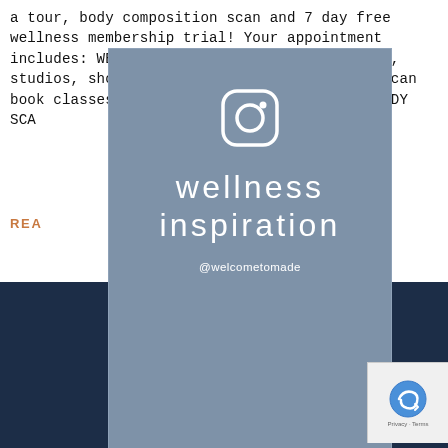a tour, body composition scan and 7 day free wellness membership trial! Your appointment includes: WELLNESS CENTRE TOUR including gym, studios, shop & café MADE APP SET UP so you can book classes and join our community FIT3D BODY SCA
REA
[Figure (infographic): Instagram promotional card with steel-blue background, Instagram icon at top, text 'wellness inspiration' in white lowercase font, and handle '@welcometomade' below]
britns Wellness community
Company registration no. 12544097
Welcome to MADE headquarters
Moddershall Oaks Country Spa Retreat,
Moddershall, Near Stone